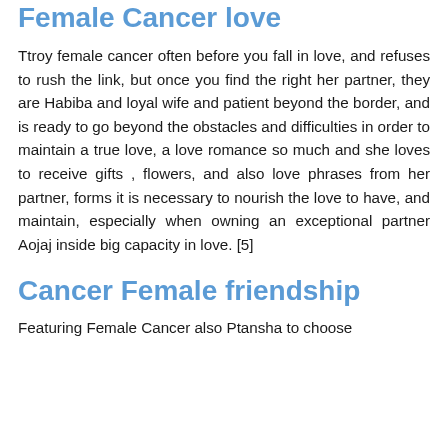Female Cancer love
Ttroy female cancer often before you fall in love, and refuses to rush the link, but once you find the right her partner, they are Habiba and loyal wife and patient beyond the border, and is ready to go beyond the obstacles and difficulties in order to maintain a true love, a love romance so much and she loves to receive gifts , flowers, and also love phrases from her partner, forms it is necessary to nourish the love to have, and maintain, especially when owning an exceptional partner Aojaj inside big capacity in love. [5]
Cancer Female friendship
Featuring Female Cancer also Ptansha to choose